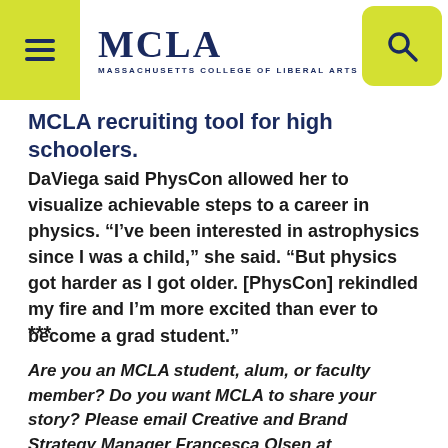MCLA — Massachusetts College of Liberal Arts
MCLA recruiting tool for high schoolers.
DaViega said PhysCon allowed her to visualize achievable steps to a career in physics. “I’ve been interested in astrophysics since I was a child,” she said. “But physics got harder as I got older. [PhysCon] rekindled my fire and I’m more excited than ever to become a grad student.”
***
Are you an MCLA student, alum, or faculty member? Do you want MCLA to share your story? Please email Creative and Brand Strategy Manager Francesca Olsen at Francesca.Olsen@mcla.edu.